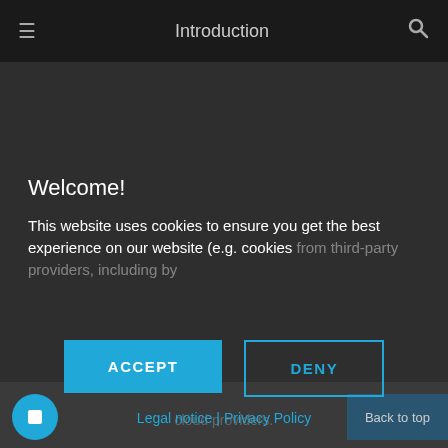Introduction
Welcome!
This website uses cookies to ensure you get the best experience on our website (e.g. cookies from third-party providers, including by
ACCEPT
DENY
Legal notice | Privacy Policy
cloud providers.
Back to top